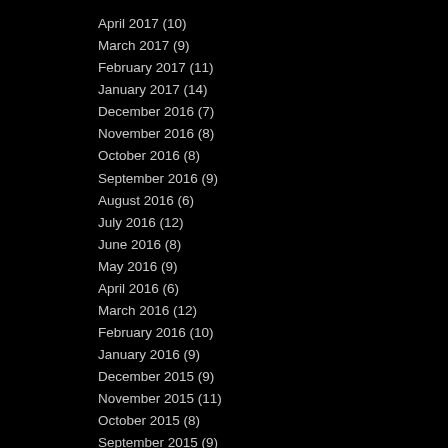April 2017 (10)
March 2017 (9)
February 2017 (11)
January 2017 (14)
December 2016 (7)
November 2016 (8)
October 2016 (8)
September 2016 (9)
August 2016 (6)
July 2016 (12)
June 2016 (8)
May 2016 (9)
April 2016 (6)
March 2016 (12)
February 2016 (10)
January 2016 (9)
December 2015 (9)
November 2015 (11)
October 2015 (8)
September 2015 (9)
August 2015 (13)
July 2015 (14)
June 2015 (11)
May 2015 (11)